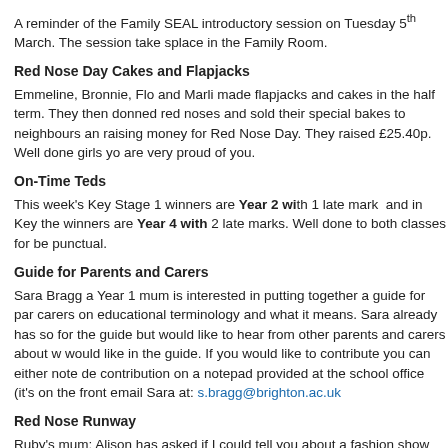A reminder of the Family SEAL introductory session on Tuesday 5th March. The session take splace in the Family Room.
Red Nose Day Cakes and Flapjacks
Emmeline, Bronnie, Flo and Marli made flapjacks and cakes in the half term. They then donned red noses and sold their special bakes to neighbours and raising money for Red Nose Day. They raised £25.40p. Well done girls you are very proud of you.
On-Time Teds
This week's Key Stage 1 winners are Year 2 with 1 late mark and in Key the winners are Year 4 with 2 late marks. Well done to both classes for be punctual.
Guide for Parents and Carers
Sara Bragg a Year 1 mum is interested in putting together a guide for par carers on educational terminology and what it means. Sara already has so for the guide but would like to hear from other parents and carers about w would like in the guide. If you would like to contribute you can either note de contribution on a notepad provided at the school office (it's on the front email Sara at: s.bragg@brighton.ac.uk
Red Nose Runway
Ruby's mum: Alison has asked if I could tell you about a fashion show